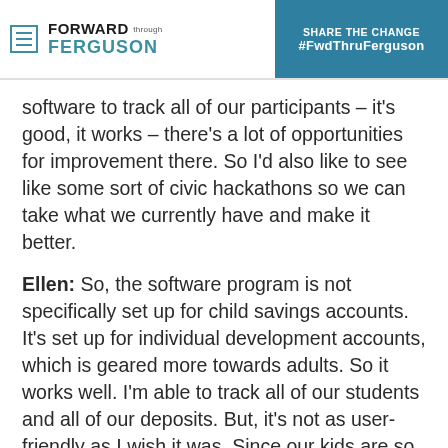FORWARD through FERGUSON — SHARE THE CHANGE #FwdThruFerguson
software to track all of our participants – it's good, it works – there's a lot of opportunities for improvement there. So I'd also like to see like some sort of civic hackathons so we can take what we currently have and make it better.
Ellen:  So, the software program is not specifically set up for child savings accounts. It's set up for individual development accounts, which is geared more towards adults. So it works well. I'm able to track all of our students and all of our deposits. But, it's not as user-friendly as I wish it was. Since our kids are so young, the majority of my work is working with parents and they have trouble accessing the